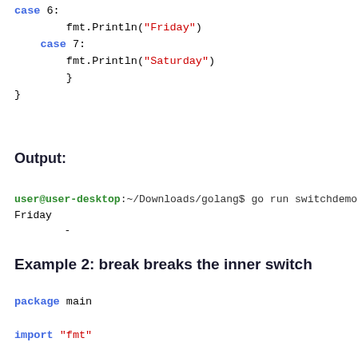case 6:
    fmt.Println("Friday")
case 7:
    fmt.Println("Saturday")
    }
}
Output:
user@user-desktop:~/Downloads/golang$ go run switchdemo.go
Friday
-
Example 2: break breaks the inner switch
package main

import "fmt"

func main() {